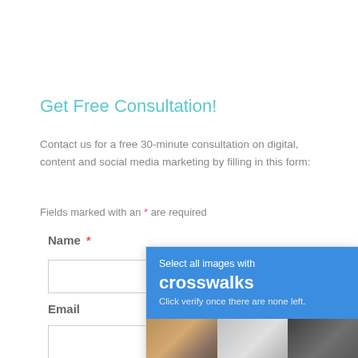Get Free Consultation!
Contact us for a free 30-minute consultation on digital, content and social media marketing by filling in this form:
Fields marked with an * are required
Name *
Email
[Figure (screenshot): reCAPTCHA popup overlay with blue header saying 'Select all images with crosswalks. Click verify once there are none left.' and three image tiles below showing various scenes.]